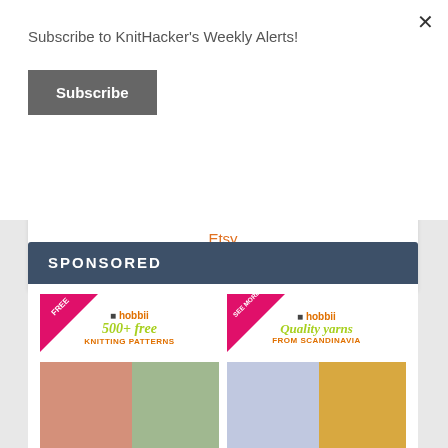Subscribe to KnitHacker's Weekly Alerts!
Subscribe
[Figure (photo): Three product thumbnail images (pink, tan/skin, maroon) showing knitted or craft items]
Etsy
KnitHackerShop
SPONSORED
[Figure (photo): Hobbii ad: FREE 500+ free KNITTING PATTERNS with two model photos wearing knitwear]
[Figure (photo): Hobbii ad: SEE MORE Quality yarns FROM SCANDINAVIA with photos of yarn balls and woman]